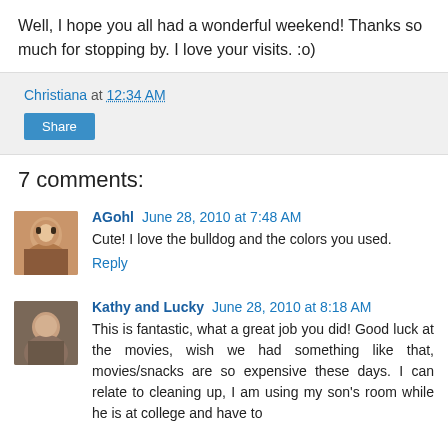Well, I hope you all had a wonderful weekend! Thanks so much for stopping by. I love your visits. :o)
Christiana at 12:34 AM
Share
7 comments:
AGohl June 28, 2010 at 7:48 AM
Cute! I love the bulldog and the colors you used.
Reply
Kathy and Lucky June 28, 2010 at 8:18 AM
This is fantastic, what a great job you did! Good luck at the movies, wish we had something like that, movies/snacks are so expensive these days. I can relate to cleaning up, I am using my son's room while he is at college and have to